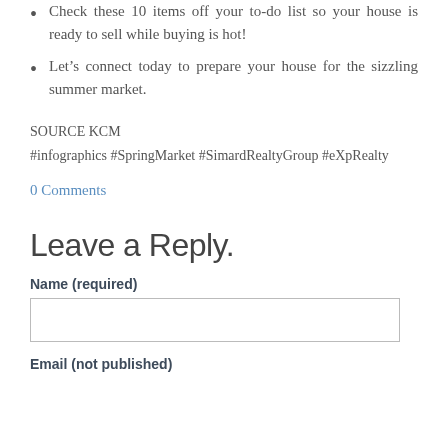Check these 10 items off your to-do list so your house is ready to sell while buying is hot!
Let's connect today to prepare your house for the sizzling summer market.
SOURCE KCM
#infographics #SpringMarket #SimardRealtyGroup #eXpRealty
0 Comments
Leave a Reply.
Name (required)
Email (not published)